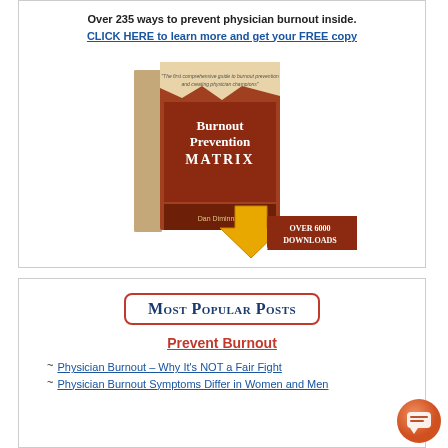Over 235 ways to prevent physician burnout inside.
CLICK HERE to learn more and get your FREE copy
[Figure (illustration): Book cover of 'Burnout Prevention MATRIX' with a yellow downward arrow and 'Over 6000 Downloads' label]
Most Popular Posts
Prevent Burnout
Physician Burnout – Why It's NOT a Fair Fight
Physician Burnout Symptoms Differ in Women and Men